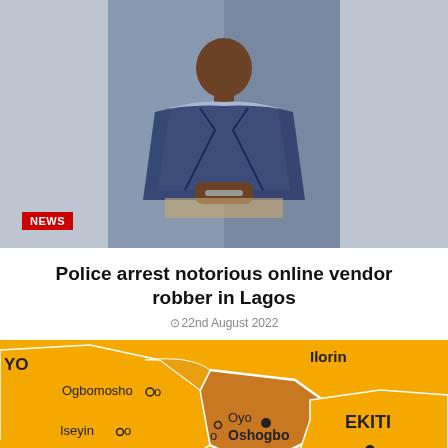[Figure (photo): Person in handcuffs standing against a dark background, arrested individual shown from waist up]
Police arrest notorious online vendor robber in Lagos
22nd August 2022
[Figure (map): Map of Nigerian states showing Osun state highlighted in orange/brown, with surrounding regions including Oyo, Ekiti, with cities labeled: Ogbomosho, Iseyin, Oyo, Ibadan, Iwo, Oshogbo, Ife, Ado-Ekiti, Owo, and partial labels for Ilorin and others]